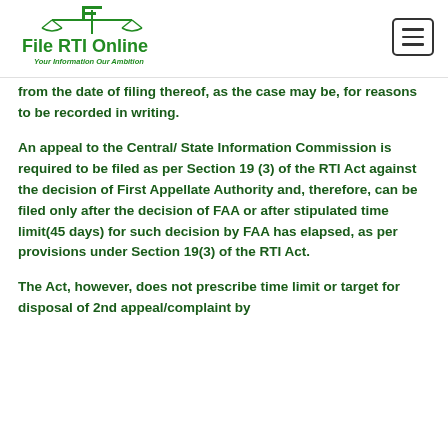File RTI Online — Your Information Our Ambition
from the date of filing thereof, as the case may be, for reasons to be recorded in writing.
An appeal to the Central/ State Information Commission is required to be filed as per Section 19 (3) of the RTI Act against the decision of First Appellate Authority and, therefore, can be filed only after the decision of FAA or after stipulated time limit(45 days) for such decision by FAA has elapsed, as per provisions under Section 19(3) of the RTI Act.
The Act, however, does not prescribe time limit or target for disposal of 2nd appeal/complaint by